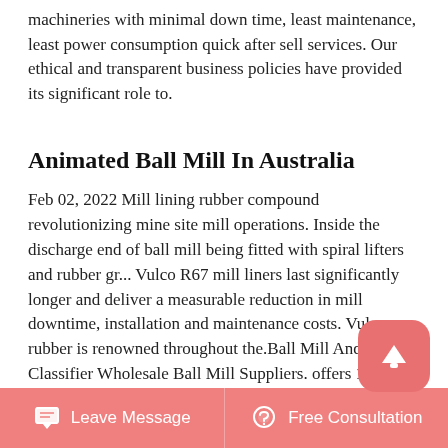machineries with minimal down time, least maintenance, least power consumption quick after sell services. Our ethical and transparent business policies have provided its significant role to.
Animated Ball Mill In Australia
Feb 02, 2022 Mill lining rubber compound revolutionizing mine site mill operations. Inside the discharge end of ball mill being fitted with spiral lifters and rubber gr... Vulco R67 mill liners last significantly longer and deliver a measurable reduction in mill downtime, installation and maintenance costs. Vulco rubber is renowned throughout the.Ball Mill And Classifier Wholesale Ball Mill Suppliers. offers 1900 ball mill and classifier products About 50 of these are mine mill 1 are other fabrication services A wide variety of ball mill and classifier options